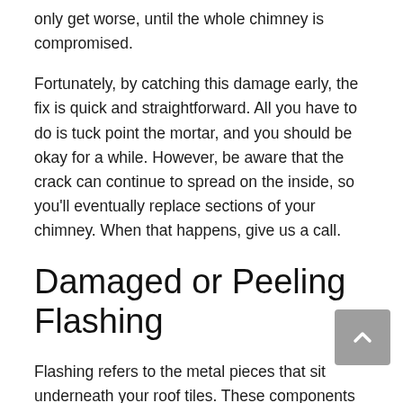only get worse, until the whole chimney is compromised.
Fortunately, by catching this damage early, the fix is quick and straightforward. All you have to do is tuck point the mortar, and you should be okay for a while. However, be aware that the crack can continue to spread on the inside, so you'll eventually replace sections of your chimney. When that happens, give us a call.
Damaged or Peeling Flashing
Flashing refers to the metal pieces that sit underneath your roof tiles. These components help prevent water from seeping into the roof and causing mold and wood damage. Wind and extreme temperatures can cause the flashing sealant to come loose. This will lead to problems during the next rainfall. In some cases, as the